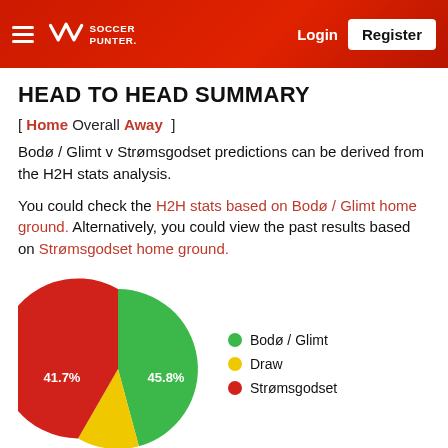Soccer Punter — Login | Register
HEAD TO HEAD SUMMARY
[ Home Overall Away ]
Bodø / Glimt v Strømsgodset predictions can be derived from the H2H stats analysis.
You could check the H2H stats based on Bodø / Glimt home ground. Alternatively, you could view the past results based on Strømsgodset home ground.
[Figure (pie-chart): Head to Head Win %]